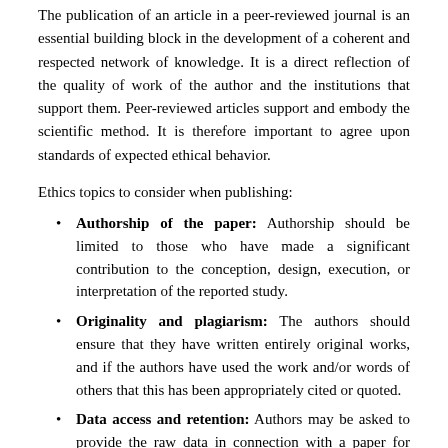The publication of an article in a peer-reviewed journal is an essential building block in the development of a coherent and respected network of knowledge. It is a direct reflection of the quality of work of the author and the institutions that support them. Peer-reviewed articles support and embody the scientific method. It is therefore important to agree upon standards of expected ethical behavior.
Ethics topics to consider when publishing:
Authorship of the paper: Authorship should be limited to those who have made a significant contribution to the conception, design, execution, or interpretation of the reported study.
Originality and plagiarism: The authors should ensure that they have written entirely original works, and if the authors have used the work and/or words of others that this has been appropriately cited or quoted.
Data access and retention: Authors may be asked to provide the raw data in connection with a paper for editorial review, and should be prepared to provide public access to such data.
Multiple, redundant or concurrent publication: An author should not in general publish manuscripts describing